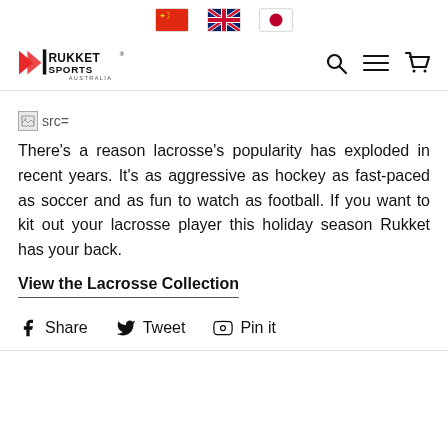Rukket Sports Australia — navigation header with flag icons, logo, search, menu, cart
[Figure (other): Broken image placeholder showing 'src=']
There’s a reason lacrosse’s popularity has exploded in recent years. It’s as aggressive as hockey as fast-paced as soccer and as fun to watch as football. If you want to kit out your lacrosse player this holiday season Rukket has your back.
View the Lacrosse Collection
Share  Tweet  Pin it